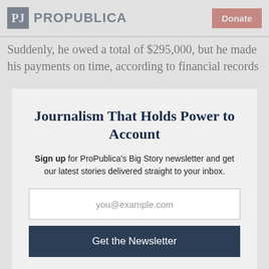ProPublica | Donate
Suddenly, he owed a total of $295,000, but he made his payments on time, according to financial records
Journalism That Holds Power to Account
Sign up for ProPublica's Big Story newsletter and get our latest stories delivered straight to your inbox.
you@example.com
Get the Newsletter
No thanks, I'm all set
This site is protected by reCAPTCHA and the Google Privacy Policy and Terms of Service apply.